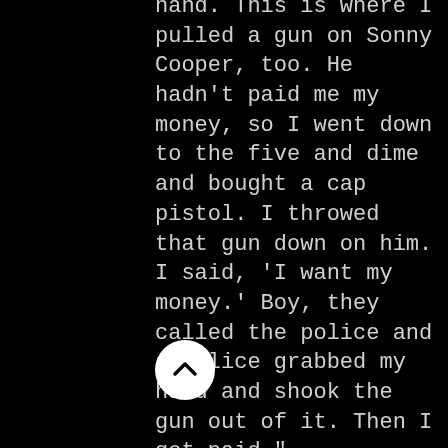hand. This is where I pulled a gun on Sonny Cooper, too. He hadn't paid me my money, so I went down to the five and dime and bought a cap pistol. I throwed that gun down on him. I said, 'I want my money.' Boy, they called the police and a police grabbed my hand and shook the gun out of it. Then I got paid."
A couple of blocks east, we passed the former location of the Happy Home and arrived at the intersection of Damen and Madison. The most prominent clubs in this vicinity were Red's Lounge and Chuck's Place. "[R]'s was where Freddy King got [discovered]," said Jimmie "He was a porter in a grocery store near here. Frank